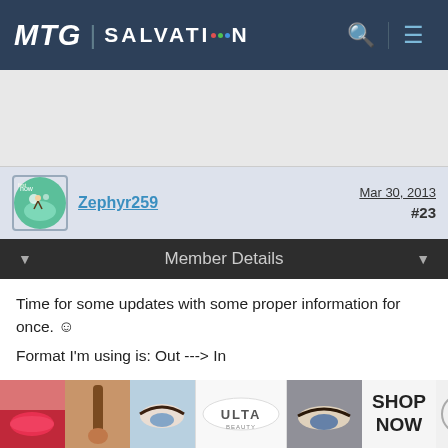MTG SALVATION
[Figure (screenshot): User avatar for Zephyr259 — circular green/teal cartoon scene]
Zephyr259
Mar 30, 2013
#23
Member Details
Time for some updates with some proper information for once. 🙂
Format I'm using is: Out ---> In

White
I wanted to give the ranger a try and white had almost as many 6cc+ creatures as green which felt a bit odd.
Angel of Serenity was the weakest of the bunch (at least
[Figure (photo): ULTA Beauty advertisement banner with makeup images and SHOP NOW call to action]